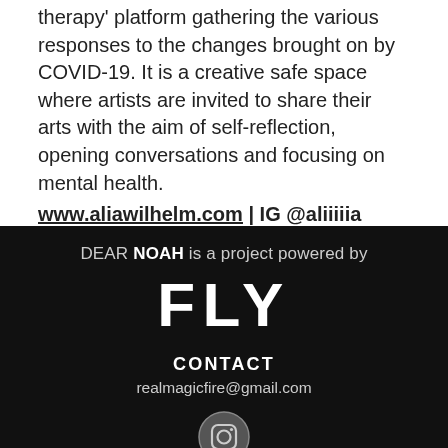therapy' platform gathering the various responses to the changes brought on by COVID-19. It is a creative safe space where artists are invited to share their arts with the aim of self-reflection, opening conversations and focusing on mental health.
www.aliawilhelm.com | IG @aliiiiia
DEAR NOAH is a project powered by
FLY
CONTACT
realmagicfire@gmail.com
[Figure (logo): Instagram icon (camera outline in a circle) on dark background]
© 2020 DEAR NOAH BY FLY. Proudly created with Wix.com.